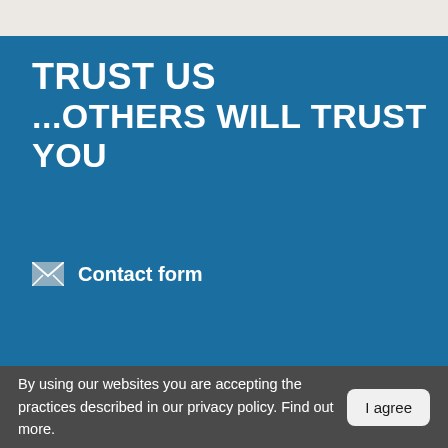TRUST US
...OTHERS WILL TRUST YOU
Contact form
By using our websites you are accepting the practices described in our privacy policy. Find out more.